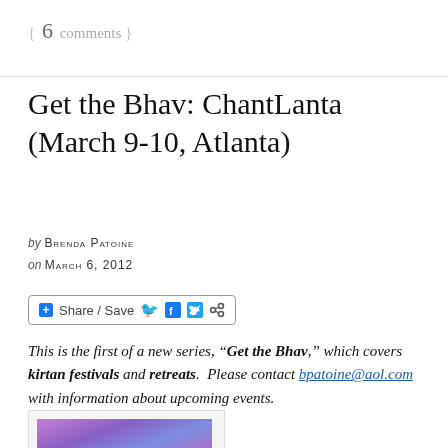{ 6 comments }
Get the Bhav: ChantLanta (March 9-10, Atlanta)
by BRENDA PATOINE
on MARCH 6, 2012
[Figure (other): Share / Save button with Facebook, Twitter and share icons]
This is the first of a new series, “Get the Bhav,” which covers kirtan festivals and retreats. Please contact bpatoine@aol.com with information about upcoming events.
[Figure (photo): Partial photo with purple and orange gradient background, cropped at bottom of page]